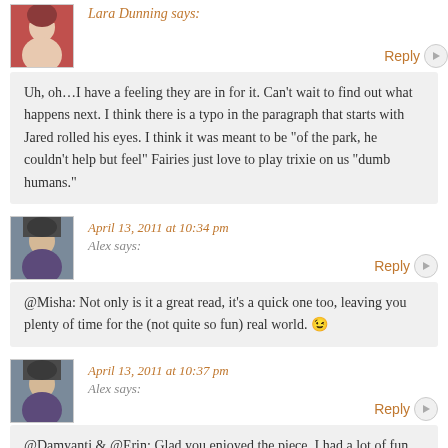Lara Dunning says:
Uh, oh…I have a feeling they are in for it. Can't wait to find out what happens next. I think there is a typo in the paragraph that starts with Jared rolled his eyes. I think it was meant to be "of the park, he couldn't help but feel" Fairies just love to play trixie on us "dumb humans."
April 13, 2011 at 10:34 pm
Alex says:
@Misha: Not only is it a great read, it's a quick one too, leaving you plenty of time for the (not quite so fun) real world. 😉
April 13, 2011 at 10:37 pm
Alex says:
@Damyanti & @Erin: Glad you enjoyed the piece, I had a lot of fun